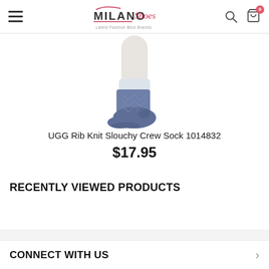Milano Shoes — Latest Fashion Best Brands
[Figure (photo): Blue knit ankle sock worn on a foot/leg, shown from the side against a white background]
UGG Rib Knit Slouchy Crew Sock 1014832
$17.95
RECENTLY VIEWED PRODUCTS
CONNECT WITH US